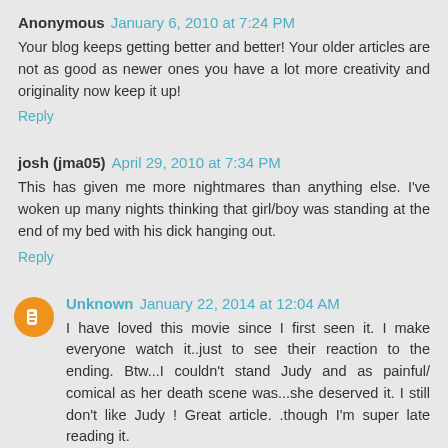Anonymous January 6, 2010 at 7:24 PM
Your blog keeps getting better and better! Your older articles are not as good as newer ones you have a lot more creativity and originality now keep it up!
Reply
josh (jma05) April 29, 2010 at 7:34 PM
This has given me more nightmares than anything else. I've woken up many nights thinking that girl/boy was standing at the end of my bed with his dick hanging out.
Reply
Unknown January 22, 2014 at 12:04 AM
I have loved this movie since I first seen it. I make everyone watch it..just to see their reaction to the ending. Btw...I couldn't stand Judy and as painful/ comical as her death scene was...she deserved it. I still don't like Judy ! Great article. .though I'm super late reading it.